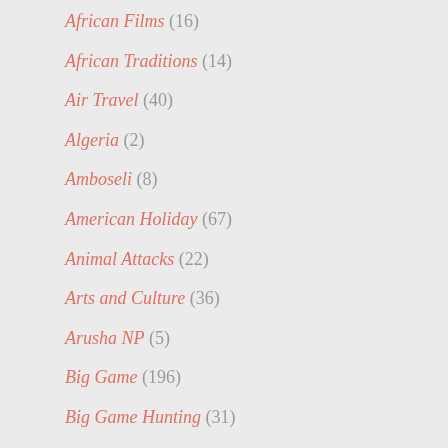African Films (16)
African Traditions (14)
Air Travel (40)
Algeria (2)
Amboseli (8)
American Holiday (67)
Animal Attacks (22)
Arts and Culture (36)
Arusha NP (5)
Big Game (196)
Big Game Hunting (31)